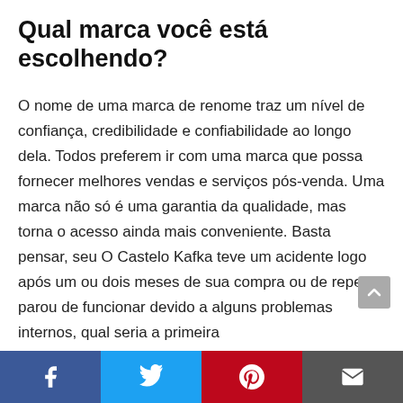Qual marca você está escolhendo?
O nome de uma marca de renome traz um nível de confiança, credibilidade e confiabilidade ao longo dela. Todos preferem ir com uma marca que possa fornecer melhores vendas e serviços pós-venda. Uma marca não só é uma garantia da qualidade, mas torna o acesso ainda mais conveniente. Basta pensar, seu O Castelo Kafka teve um acidente logo após um ou dois meses de sua compra ou de repente parou de funcionar devido a alguns problemas internos, qual seria a primeira
Facebook Twitter Pinterest Email